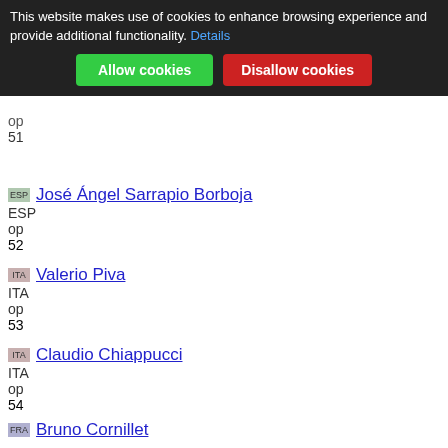This website makes use of cookies to enhance browsing experience and provide additional functionality. Details
Allow cookies | Disallow cookies
51 ESP José Ángel Sarrapio Borboja ESP op
52 ITA Valerio Piva ITA op
53 ITA Claudio Chiappucci ITA op
54 FRA Bruno Cornillet FRA op
55 BEL Paul Haghedooren BEL op
56 BEL Willem Van Eyden